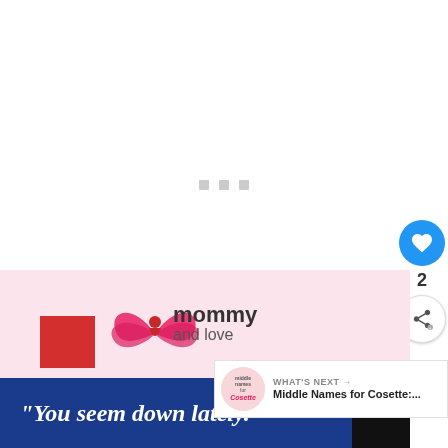[Figure (screenshot): White loading area with three small grey squares (loading indicator dots) in the center]
[Figure (screenshot): Side UI buttons: blue heart/like button, like count '2', and a share button with circular arrows icon]
2
[Figure (screenshot): WHAT'S NEXT panel with thumbnail of 'middle names for Cosette' article and text 'Middle Names for Cosette:...']
[Figure (logo): Pink banner with 'mommy and love' logo featuring wings icon]
[Figure (screenshot): Blue advertisement banner with text '"You seem down lately."' in italic white/yellow font, with a dark logo badge on the right]